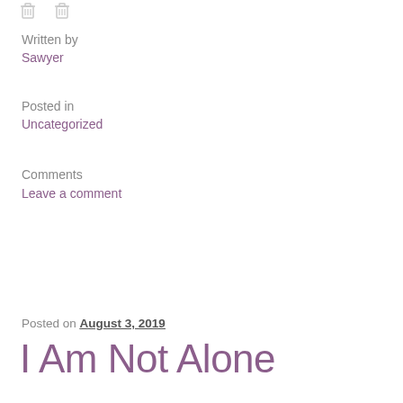[Figure (illustration): Two small trash/delete icons at the top left]
Written by
Sawyer
Posted in
Uncategorized
Comments
Leave a comment
Posted on August 3, 2019
I Am Not Alone